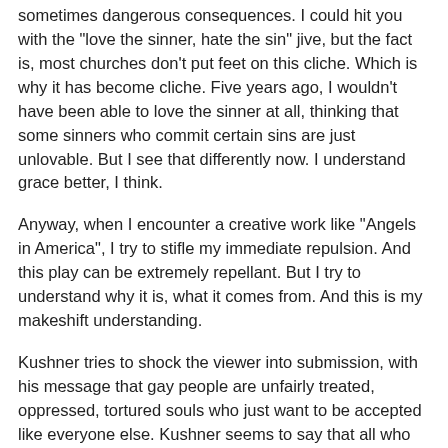sometimes dangerous consequences. I could hit you with the "love the sinner, hate the sin" jive, but the fact is, most churches don't put feet on this cliche. Which is why it has become cliche. Five years ago, I wouldn't have been able to love the sinner at all, thinking that some sinners who commit certain sins are just unlovable. But I see that differently now. I understand grace better, I think.
Anyway, when I encounter a creative work like "Angels in America", I try to stifle my immediate repulsion. And this play can be extremely repellant. But I try to understand why it is, what it comes from. And this is my makeshift understanding.
Kushner tries to shock the viewer into submission, with his message that gay people are unfairly treated, oppressed, tortured souls who just want to be accepted like everyone else. Kushner seems to say that all who don't think homosexuality is okay are nothing more than hateful neanderthals akin to Nazis and all the other horrible wicked murderous tribes who've been around. You don't dare disagree with the gay heroes, because that means you side with the bigots and oppressors. And no one wants to be